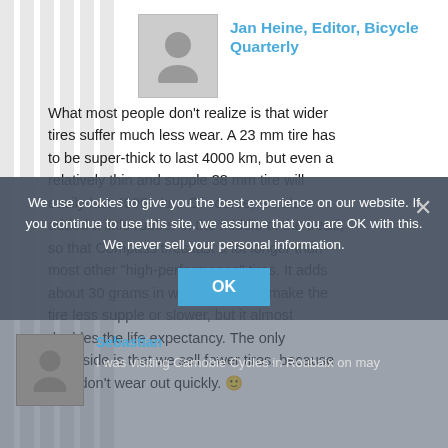Jan Heine, Editor, Bicycle Quarterly
What most people don't realize is that wider tires suffer much less wear. A 23 mm tire has to be super-thick to last 4000 km, but even a relatively thin and supple 38 mm tire will easily last 4000+ km. Of course, we also added a little rubber in the middle of the tread, so that Compass tires last a lot longer than most other "high-performance" tires. It adds about 30 grams in weight, doesn't make the tire less supple or slower, but it almost doubles the life expectancy. The only downside is that we sell fewer tires, because they don't wear out quickly. 🙂
We use cookies to give you the best experience on our website. If you continue to use this site, we assume that you are OK with this. We never sell your personal information.
OK
Sebastian
I was visiting Carnobie Cycles in Roubaix on may